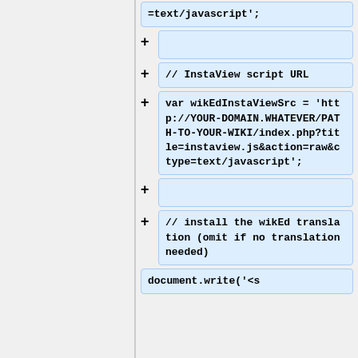=text/javascript';
// InstaView script URL
var wikEdInstaViewSrc = 'http://YOUR-DOMAIN.WHATEVER/PATH-TO-YOUR-WIKI/index.php?title=instaview.js&action=raw&ctype=text/javascript';
// install the wikEd translation (omit if no translation needed)
document.write('<s